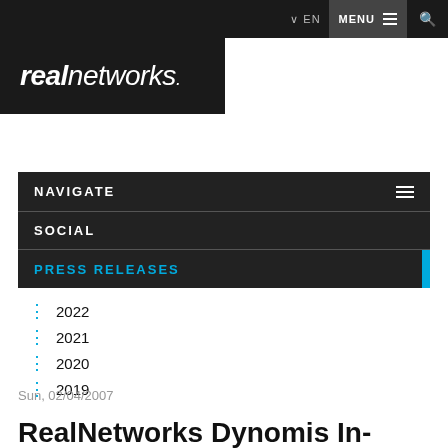[Figure (logo): RealNetworks logo in white italic text on dark background]
NAVIGATE
SOCIAL
PRESS RELEASES
2022
2021
2020
2019
Sun, 02/04/2007
RealNetworks Dynomis In-Game